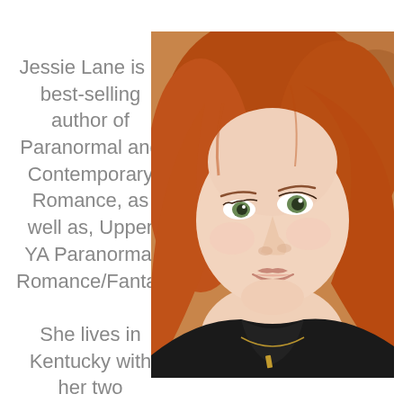Jessie Lane is a best-selling author of Paranormal and Contemporary Romance, as well as, Upper YA Paranormal Romance/Fantasy.

She lives in Kentucky with her two
[Figure (photo): Close-up portrait photo of a young woman with long red hair and green eyes, wearing a black top and a gold necklace, looking slightly to the side with a subtle smile.]